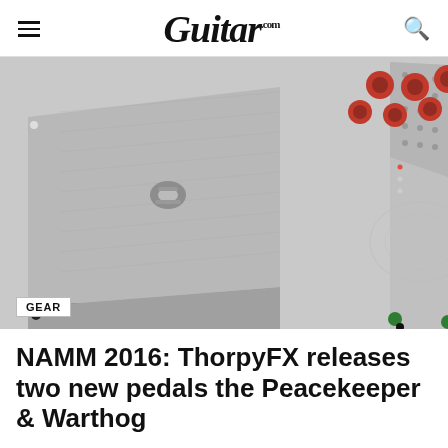Guitar.com
[Figure (photo): Two ThorpyFX guitar pedals side by side: on the left, a blue and silver rectangular effects pedal with a metallic clip/fastener on top; on the right, a silver/gray rack-style pedal unit with red knobs and perforated metal panel.]
GEAR
NAMM 2016: ThorpyFX releases two new pedals the Peacekeeper & Warthog